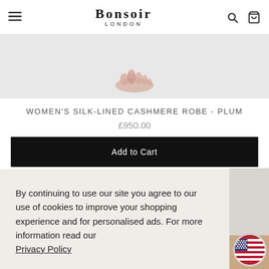BONSOIR LONDON
[Figure (photo): Partial view of a person's feet/lower legs wearing or holding a plum cashmere robe, on a light gray background]
WOMEN'S SILK-LINED CASHMERE ROBE - PLUM
£950.00
Add to Cart
By continuing to use our site you agree to our use of cookies to improve your shopping experience and for personalised ads. For more information read our Privacy Policy
OK
[Figure (photo): Bottom strip showing partial view of a product image in brown/camel color]
Hello
[Figure (illustration): US flag circle badge]